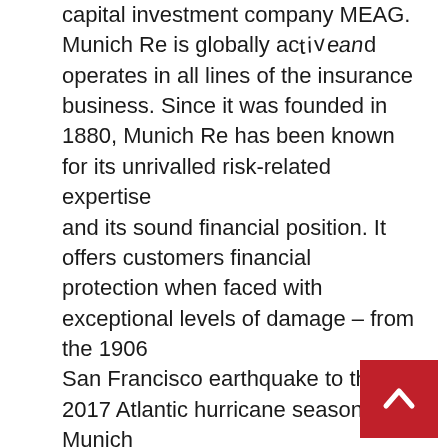capital investment company MEAG. Munich Re is globally active and operates in all lines of the insurance business. Since it was founded in 1880, Munich Re has been known for its unrivalled risk-related expertise and its sound financial position. It offers customers financial protection when faced with exceptional levels of damage – from the 1906 San Francisco earthquake to the 2017 Atlantic hurricane season. Munich Re possesses outstanding innovative strength, which enables it to also provide coverage for extraordinary risks such as rocket launches, renewable energies, cyberattacks, or pandemics.
[Figure (other): Red square scroll-to-top button with white upward chevron arrow]